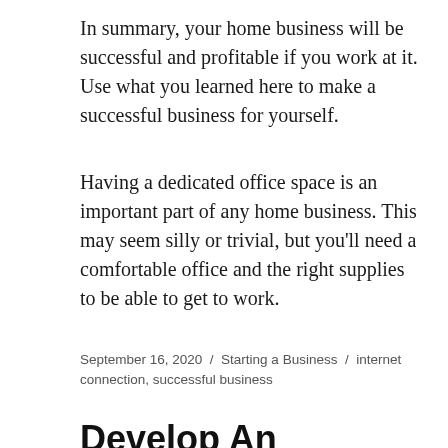In summary, your home business will be successful and profitable if you work at it. Use what you learned here to make a successful business for yourself.
Having a dedicated office space is an important part of any home business. This may seem silly or trivial, but you'll need a comfortable office and the right supplies to be able to get to work.
September 16, 2020 / Starting a Business / internet connection, successful business
Develop An Website Marketing Strategy That